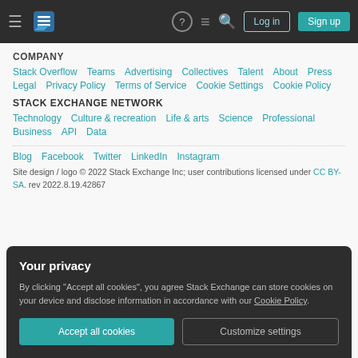Stack Exchange navigation bar with hamburger menu, logo, help, chat, search, Log in, Sign up
COMPANY
Stack Overflow  Teams  Advertising  Collectives  Talent  About  Press
Legal  Privacy Policy  Terms of Service  Cookie Settings  Cookie Policy
STACK EXCHANGE NETWORK
Technology  Culture & recreation  Life & arts  Science  Professional
Business  API  Data
Blog  Facebook  Twitter  LinkedIn  Instagram
Site design / logo © 2022 Stack Exchange Inc; user contributions licensed under CC BY-SA. rev 2022.8.19.42867
Your privacy
By clicking "Accept all cookies", you agree Stack Exchange can store cookies on your device and disclose information in accordance with our Cookie Policy.
Accept all cookies  Customize settings